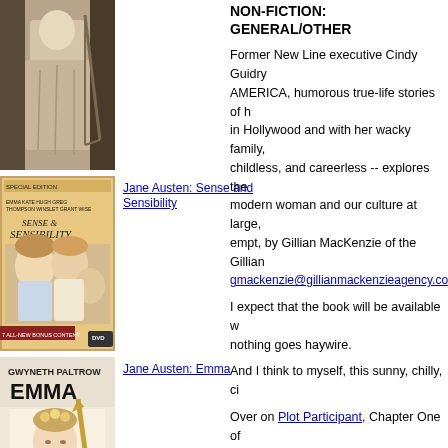[Figure (photo): Painting/illustration of a woman in period dress, partially visible at top]
[Figure (photo): DVD cover of Jane Austen: Sense and Sensibility featuring actresses in period costume]
Jane Austen: Sense and Sensibility
[Figure (photo): DVD cover of Jane Austen: Emma featuring Gwyneth Paltrow]
Jane Austen: Emma
[Figure (photo): Book cover of Jane Austen: Jane ... (partially visible)]
Jane Austen: Jane ...
NON-FICTION: GENERAL/OTHER
Former New Line executive Cindy Guidry... AMERICA, humorous true-life stories of her life in Hollywood and with her wacky family, childless, and careerless -- explores the modern woman and our culture at large, empt, by Gillian MacKenzie of the Gillian... gmackenzie@gillianmackenzieagency.co...
I expect that the book will be available w... nothing goes haywire.
And I think to myself, this sunny, chilly, ci...
Over on Plot Participant, Chapter One of ... post Chapter Two (enter Paris) and mayb...
Tuesday, December 05, 2006 in Books, Reading, Wo... (0)